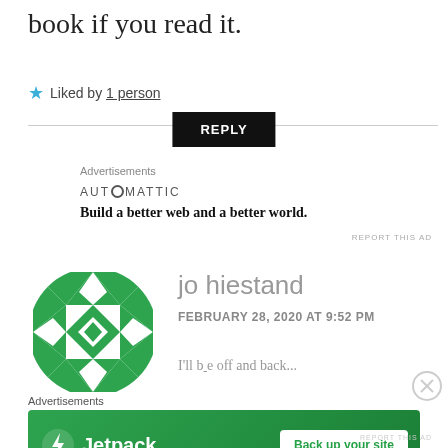book if you read it.
★ Liked by 1 person
REPLY
Advertisements
AUTOMATTIC
Build a better web and a better world.
REPORT THIS AD
[Figure (illustration): Green and white geometric quilt-pattern avatar for commenter jo hiestand]
jo hiestand
FEBRUARY 28, 2020 AT 9:52 PM
I'll be off and back...
Advertisements
[Figure (infographic): Jetpack advertisement banner: green background with Jetpack logo and 'Back up your site' button]